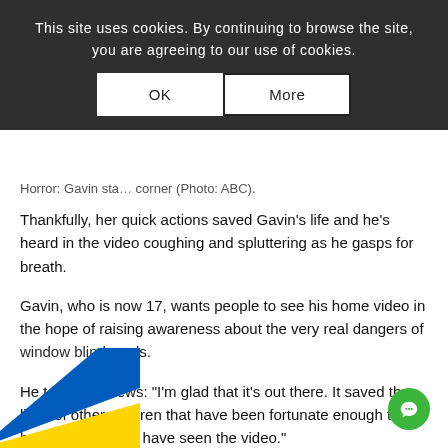This site uses cookies. By continuing to browse the site, you are agreeing to our use of cookies.
Horror: Gavin sta... corner (Photo: ABC).
Thankfully, her quick actions saved Gavin’s life and he’s heard in the video coughing and spluttering as he gasps for breath.
Gavin, who is now 17, wants people to see his home video in the hope of raising awareness about the very real dangers of window blind cords.
He told ABC News: “I’m glad that it’s out there. It saved the lives of other children that have been fortunate enough to have parents who have seen the video.”
It is thought more than 100 children have died in window blind cord accidents since Gavin’s.
[Figure (photo): Broken image placeholder with alt text: toddler-seen-silently-strangling-at-the-end-of-a-looped-dow-blind-cord-1]